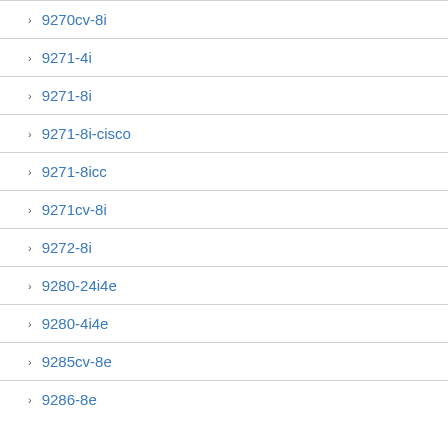9270cv-8i
9271-4i
9271-8i
9271-8i-cisco
9271-8icc
9271cv-8i
9272-8i
9280-24i4e
9280-4i4e
9285cv-8e
9286-8e